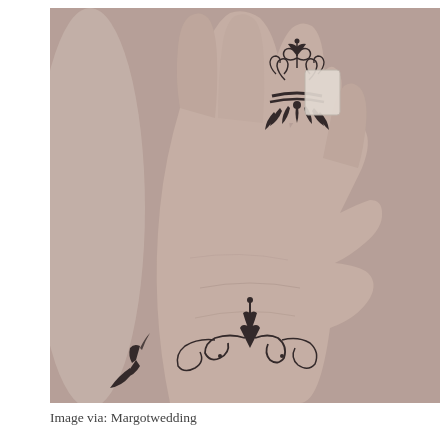[Figure (photo): Close-up photograph of two hands with ornate lace-style tattoos. One hand shows a decorative mandala/floral ring tattoo on the ring finger with a wedding band, featuring intricate scrollwork and petals. The other hand below shows a floral lace tattoo on the back of the hand. The image is in black and white/sepia tones.]
Image via: Margotwedding